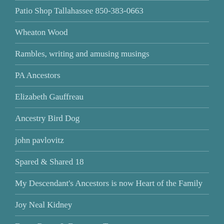Patio Shop Tallahassee 850-383-0663
Wheaton Wood
Rambles, writing and amusing musings
PA Ancestors
Elizabeth Gauffreau
Ancestry Bird Dog
john pavlovitz
Spared & Shared 18
My Descendant's Ancestors is now Heart of the Family
Joy Neal Kidney
Dusty Roots & Forgotten Treasures
The Chiddicks Family Tree